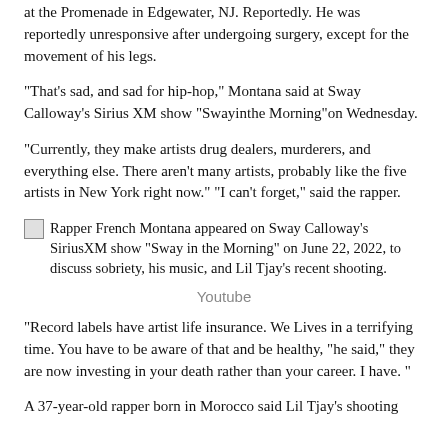at the Promenade in Edgewater, NJ. Reportedly. He was reportedly unresponsive after undergoing surgery, except for the movement of his legs.
"That's sad, and sad for hip-hop," Montana said at Sway Calloway's Sirius XM show "Swayinthe Morning"on Wednesday.
"Currently, they make artists drug dealers, murderers, and everything else. There aren't many artists, probably like the five artists in New York right now." "I can't forget," said the rapper.
[Figure (photo): Rapper French Montana appeared on Sway Calloway's SiriusXM show "Sway in the Morning" on June 22, 2022, to discuss sobriety, his music, and Lil Tjay's recent shooting.]
Youtube
"Record labels have artist life insurance. We Lives in a terrifying time. You have to be aware of that and be healthy, "he said," they are now investing in your death rather than your career. I have. "
A 37-year-old rapper born in Morocco said Lil Tjay's shooting